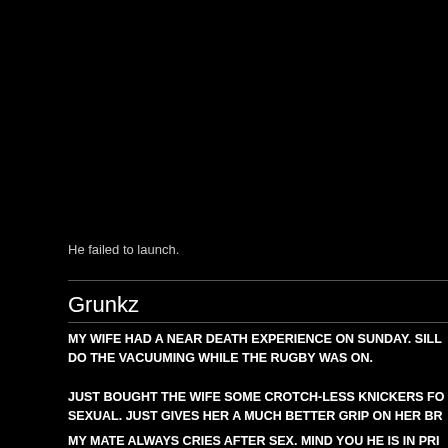He failed to launch.
Grunkz
MY WIFE HAD A NEAR DEATH EXPERIENCE ON SUNDAY. SILL... DO THE VACUUMING WHILE THE RUGBY WAS ON.
JUST BOUGHT THE WIFE SOME CROTCH-LESS KNICKERS FO... SEXUAL. JUST GIVES HER A MUCH BETTER GRIP ON HER BR...
MY MATE ALWAYS CRIES AFTER SEX. MIND YOU HE IS IN PRI...